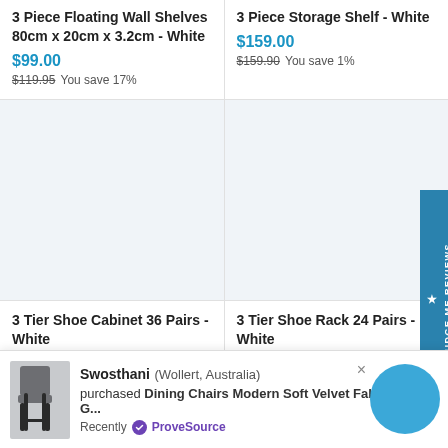3 Piece Floating Wall Shelves 80cm x 20cm x 3.2cm - White
$99.00
$119.95 You save 17%
3 Piece Storage Shelf - White
$159.00
$159.90 You save 1%
[Figure (photo): Product image placeholder for 3 Tier Shoe Cabinet 36 Pairs - White]
[Figure (photo): Product image placeholder for 3 Tier Shoe Rack 24 Pairs - White]
3 Tier Shoe Cabinet 36 Pairs - White
3 Tier Shoe Rack 24 Pairs - White
Swosthani (Wollert, Australia) purchased Dining Chairs Modern Soft Velvet Fabric x 4 - G... Recently ProveSource